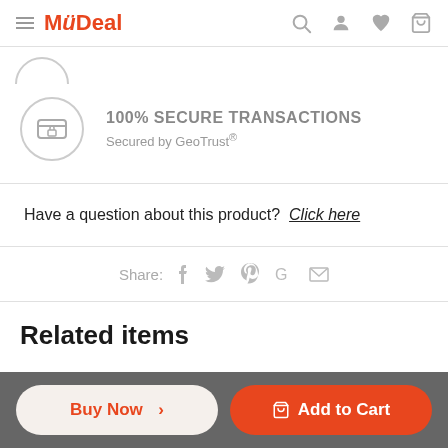MyDeal
[Figure (screenshot): Partially cropped circular badge at top left]
100% SECURE TRANSACTIONS
Secured by GeoTrust®
Have a question about this product?  Click here
Share: f  twitter  pinterest  G  mail
Related items
Buy Now >  Add to Cart